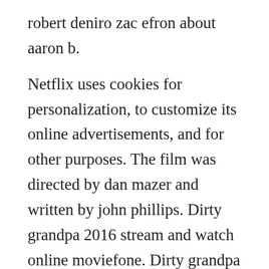robert deniro zac efron about aaron b.
Netflix uses cookies for personalization, to customize its online advertisements, and for other purposes. The film was directed by dan mazer and written by john phillips. Dirty grandpa 2016 stream and watch online moviefone. Dirty grandpa soundtrack list dirty grandpa movie 2016. Dirty grandpa 2016 uptight lawyer jason kelly zac efron is one week away from marrying his bosss controlling daughter, putting him on the fast track for a partnership at his firm. Dirty